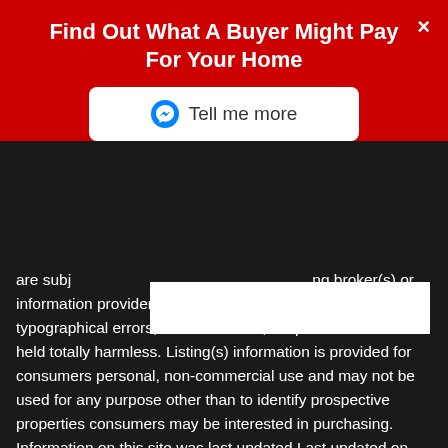Find Out What A Buyer Might Pay For Your Home
[Figure (other): Facebook Messenger 'Tell me more' button]
are subj...ng broker(s) or information provider(s) shall be responsible for any typographical errors, misinformation, misprints and shall be held totally harmless. Listing(s) information is provided for consumers personal, non-commercial use and may not be used for any purpose other than to identify prospective properties consumers may be interested in purchasing. Information on this site was last updated Last updated on September 2, 2022 3:14 AM UTC The listing information on this page last changed on Last updated on September 2, 2022 3:14 AM UTCd. The data relating to real estate for sale on this website comes in part from the Internet Data Exchange program of MFR MLS. All information deemed reliable but not guaranteed. All properties are subject to prior sale; change